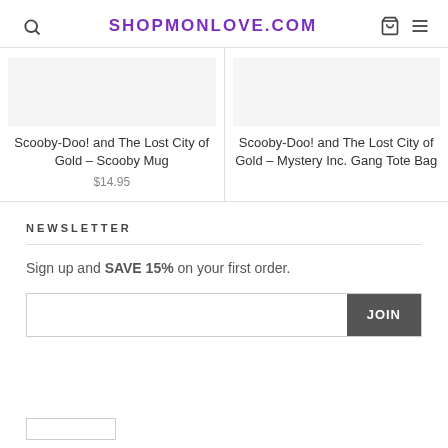SHOPMONLOVE.COM
Scooby-Doo! and The Lost City of Gold – Scooby Mug
$14.95
Scooby-Doo! and The Lost City of Gold – Mystery Inc. Gang Tote Bag
NEWSLETTER
Sign up and SAVE 15% on your first order.